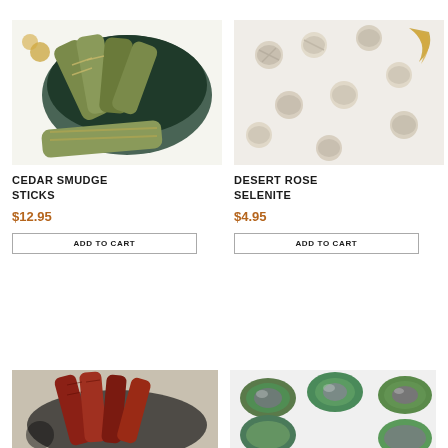[Figure (photo): Cedar smudge sticks bundled with string on a dark ceramic plate with golden scissors]
[Figure (photo): Desert rose selenite clusters scattered on white background with gold crescent moon]
CEDAR SMUDGE STICKS
$12.95
ADD TO CART
DESERT ROSE SELENITE
$4.95
ADD TO CART
[Figure (photo): Red/burgundy smudge sticks bundled together in dark bowl]
[Figure (photo): Round polished fluorite stones with green and purple coloring]